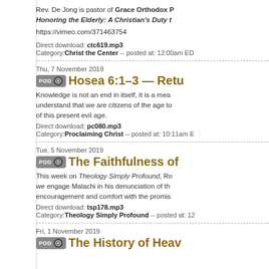Rev. De Jong is pastor of Grace Orthodox — Honoring the Elderly: A Christian's Duty t…
https://vimeo.com/371463754
Direct download: ctc619.mp3
Category: Christ the Center -- posted at: 12:00am ED…
Thu, 7 November 2019
Hosea 6:1–3 — Retu…
Knowledge is not an end in itself, it is a mea… understand that we are citizens of the age to… of this present evil age.
Direct download: pc080.mp3
Category: Proclaiming Christ -- posted at: 10:11am E…
Tue, 5 November 2019
The Faithfulness of…
This week on Theology Simply Profound, Ro… we engage Malachi in his denunciation of th… encouragement and comfort with the promis…
Direct download: tsp178.mp3
Category: Theology Simply Profound -- posted at: 12…
Fri, 1 November 2019
The History of Heav…